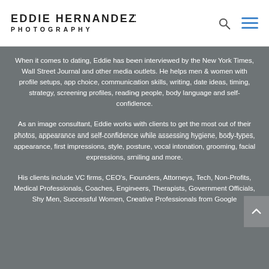EDDIE HERNANDEZ PHOTOGRAPHY
When it comes to dating, Eddie has been interviewed by the New York Times, Wall Street Journal and other media outlets. He helps men & women with profile setups, app choice, communication skills, writing, date ideas, timing, strategy, screening profiles, reading people, body language and self-confidence.
As an image consultant, Eddie works with clients to get the most out of their photos, appearance and self-confidence while assessing hygiene, body-types, appearance, first impressions, style, posture, vocal intonation, grooming, facial expressions, smiling and more.
His clients include VC firms, CEO's, Founders, Attorneys, Tech, Non-Profits, Medical Professionals, Coaches, Engineers, Therapists, Government Officials, Shy Men, Successful Women, Creative Professionals from Google…